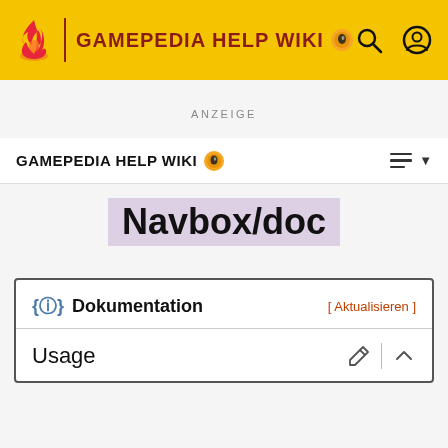GAMEPEDIA HELP WIKI
ANZEIGE
GAMEPEDIA HELP WIKI
Navbox/doc
Dokumentation [ Aktualisieren ]
Usage